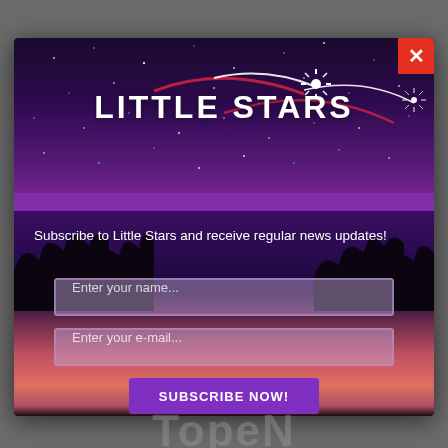[Figure (screenshot): Little Stars subscription popup modal with purple/night sky background, logo at top, name and email input fields, subscribe button, and privacy notice]
LITTLE STARS
Subscribe to Little Stars and receive regular news updates!
Enter your name...
Enter your e-mail...
SUBSCRIBE NOW!
Your Information will never be shared with any third party.